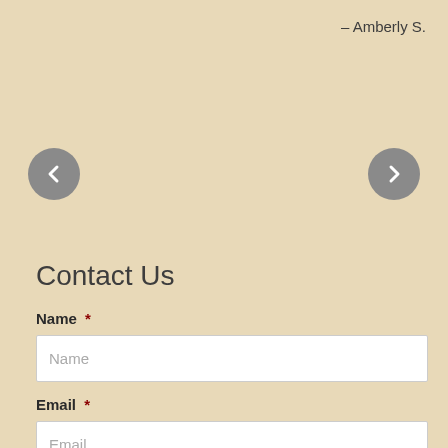– Amberly S.
[Figure (other): Left navigation arrow button (grey circle with left chevron)]
[Figure (other): Right navigation arrow button (grey circle with right chevron)]
Contact Us
Name *
Name (placeholder text in input field)
Email *
Email (placeholder text in input field)
Center You Are Interested In *
Alpharetta Campus
Cumming Campus